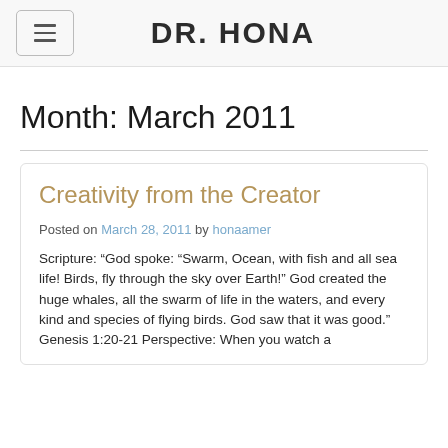DR. HONA
Month: March 2011
Creativity from the Creator
Posted on March 28, 2011 by honaamer
Scripture: “God spoke: “Swarm, Ocean, with fish and all sea life! Birds, fly through the sky over Earth!” God created the huge whales, all the swarm of life in the waters, and every kind and species of flying birds. God saw that it was good.” Genesis 1:20-21 Perspective: When you watch a